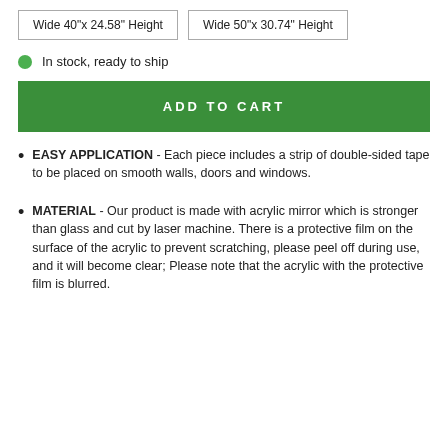Wide 40"x 24.58" Height | Wide 50"x 30.74" Height
In stock, ready to ship
ADD TO CART
EASY APPLICATION - Each piece includes a strip of double-sided tape to be placed on smooth walls, doors and windows.
MATERIAL - Our product is made with acrylic mirror which is stronger than glass and cut by laser machine. There is a protective film on the surface of the acrylic to prevent scratching, please peel off during use, and it will become clear; Please note that the acrylic with the protective film is blurred.